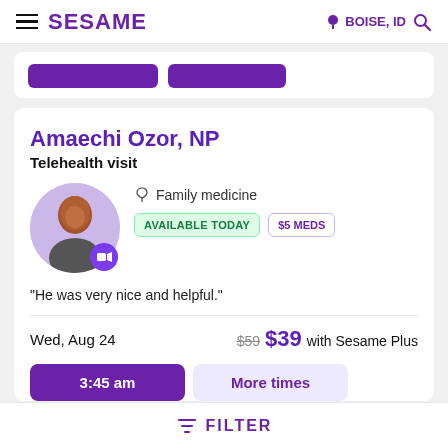SESAME  BOISE, ID
Amaechi Ozor, NP
Telehealth visit
Family medicine
AVAILABLE TODAY  $5 MEDS
"He was very nice and helpful."
Wed, Aug 24   $59  $39 with Sesame Plus
3:45 am   More times
FILTER